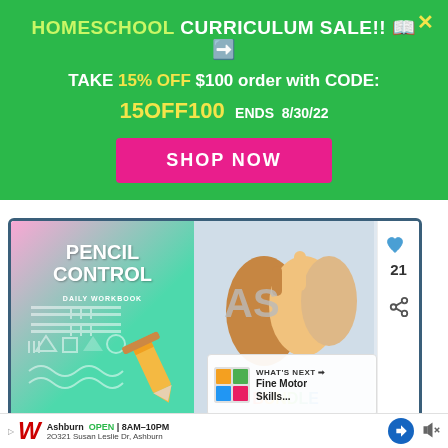[Figure (infographic): Green promotional banner for Homeschool Curriculum Sale offering 15% off $100 order with code 15OFF100 ending 8/30/22, with a pink SHOP NOW button and a yellow X close button.]
[Figure (infographic): Product card showing two educational books: Pencil Control Daily Workbook (colorful teal/pink cover) on the left and an ASL Bundle book with hand signs on the right, with a heart icon, share icon, number 21, and a WHAT'S NEXT panel for Fine Motor Skills.]
[Figure (infographic): Walgreens advertisement banner showing store location in Ashburn, open 8AM-10PM at 20321 Susan Leslie Dr, Ashburn.]